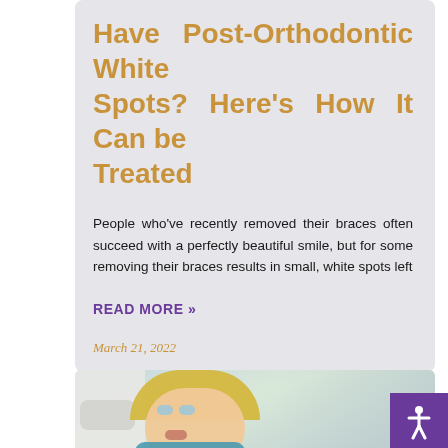Have Post-Orthodontic White Spots? Here's How It Can be Treated
People who've recently removed their braces often succeed with a perfectly beautiful smile, but for some removing their braces results in small, white spots left
READ MORE »
March 21, 2022
[Figure (photo): Photo of a blonde woman looking up with open mouth, with a dental professional in white mask visible on the left side. Clinical/dental setting background.]